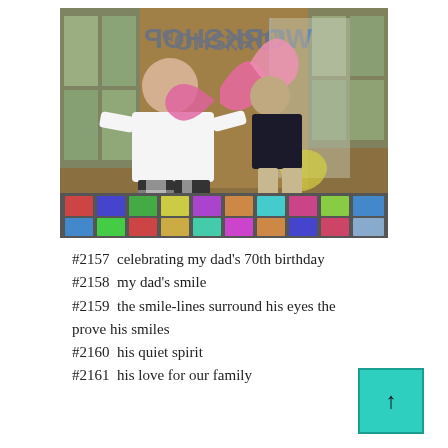[Figure (photo): Two people inside a colorful children's entertainment venue. A man in a white shirt and black-and-white checked pants holds up pink balloon animals. A younger person in a black t-shirt and khaki shorts stands behind. The background has a mirrored wall reflecting balloon decorations, colorful text reading 'WORKSHOP', colorful tile floor, and large windows.]
#2157  celebrating my dad’s 70th birthday
#2158  my dad’s smile
#2159  the smile-lines surround his eyes the prove his smiles
#2160  his quiet spirit
#2161  his love for our family
[Figure (other): Teal/turquoise square button with an upward-pointing arrow symbol]